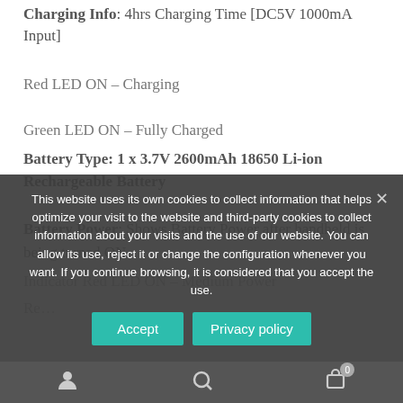Charging Info: 4hrs Charging Time [DC5V 1000mA Input]
Red LED ON – Charging
Green LED ON – Fully Charged
Battery Type: 1 x 3.7V 2600mAh 18650 Li-ion Rechargeable Battery
Battery Power: Shows Battery Power after handheld is being turned ON.
Indicator Red LED ON – Medium Power
Re...
This website uses its own cookies to collect information that helps optimize your visit to the website and third-party cookies to collect information about your visits and the use of our website. You can allow its use, reject it or change the configuration whenever you want. If you continue browsing, it is considered that you accept the use.
Accept
Privacy policy